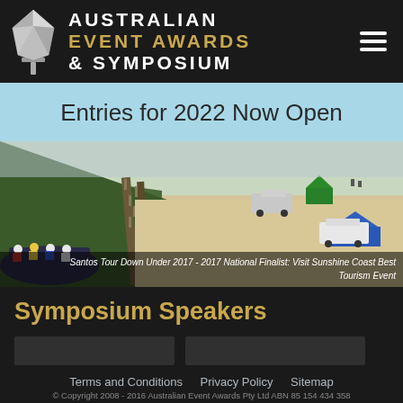AUSTRALIAN EVENT AWARDS & SYMPOSIUM
Entries for 2022 Now Open
[Figure (photo): Cyclists racing along a coastal road beside a sandy beach with support vehicles and tents in the background — Santos Tour Down Under 2017]
Santos Tour Down Under 2017 - 2017 National Finalist: Visit Sunshine Coast Best Tourism Event
Symposium Speakers
Terms and Conditions   Privacy Policy   Sitemap
© Copyright 2008 - 2016 Australian Event Awards Pty Ltd ABN 85 154 434 358